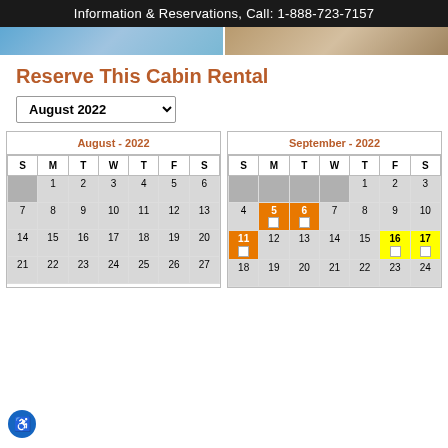Information & Reservations, Call: 1-888-723-7157
[Figure (photo): Two cabin/room photos side by side]
Reserve This Cabin Rental
August 2022 (dropdown selector)
| S | M | T | W | T | F | S |
| --- | --- | --- | --- | --- | --- | --- |
|  | 1 | 2 | 3 | 4 | 5 | 6 |
| 7 | 8 | 9 | 10 | 11 | 12 | 13 |
| 14 | 15 | 16 | 17 | 18 | 19 | 20 |
| 21 | 22 | 23 | 24 | 25 | 26 | 27 |
| S | M | T | W | T | F | S |
| --- | --- | --- | --- | --- | --- | --- |
|  |  |  |  | 1 | 2 | 3 |
| 4 | 5 (orange) | 6 (orange) | 7 | 8 | 9 | 10 |
| 11 (orange) | 12 | 13 | 14 | 15 | 16 (yellow) | 17 (yellow) |
| 18 | 19 | 20 | 21 | 22 | 23 | 24 |